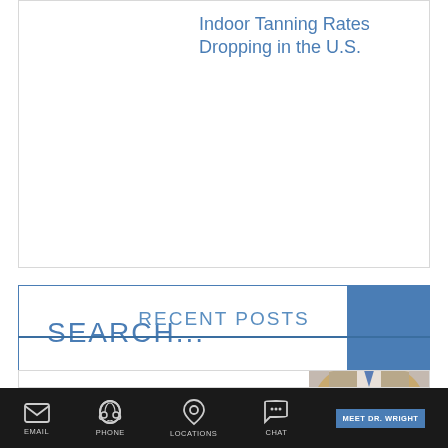Indoor Tanning Rates Dropping in the U.S.
SEARCH...
RECENT POSTS
One Woman's Journey Liposuction for Bre...
EMAIL  PHONE  LOCATIONS  CHAT  MEET DR. WRIGHT